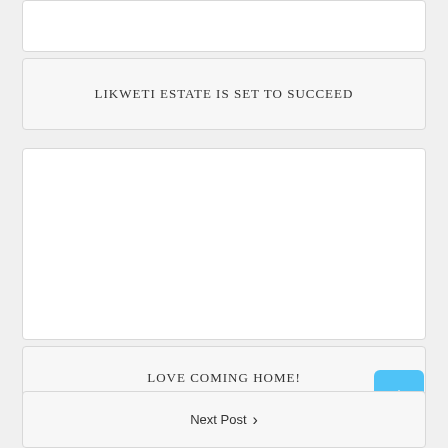[Figure (other): Partial white card at top of page, content not visible]
LIKWETI ESTATE IS SET TO SUCCEED
[Figure (other): Large white image/content card, appears blank or image not loaded]
LOVE COMING HOME!
Next Post >